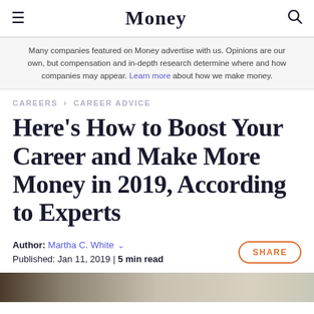Money
Many companies featured on Money advertise with us. Opinions are our own, but compensation and in-depth research determine where and how companies may appear. Learn more about how we make money.
CAREERS > CAREER ADVICE
Here's How to Boost Your Career and Make More Money in 2019, According to Experts
Author: Martha C. White ∨
Published: Jan 11, 2019 | 5 min read